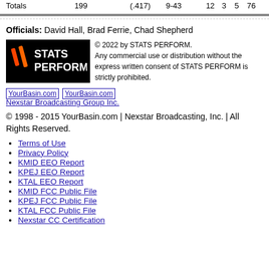|  | 199 | (.417) | 9-43 | 12 | 3 | 5 | 76 |
| --- | --- | --- | --- | --- | --- | --- | --- |
| Totals | 199 | (.417) | 9-43 | 12 | 3 | 5 | 76 |
Officials: David Hall, Brad Ferrie, Chad Shepherd
[Figure (logo): STATS PERFORM logo with copyright notice: © 2022 by STATS PERFORM. Any commercial use or distribution without the express written consent of STATS PERFORM is strictly prohibited.]
YourBasin.com YourBasin.com Nexstar Broadcasting Group Inc.
© 1998 - 2015 YourBasin.com | Nexstar Broadcasting, Inc. | All Rights Reserved.
Terms of Use
Privacy Policy
KMID EEO Report
KPEJ EEO Report
KTAL EEO Report
KMID FCC Public File
KPEJ FCC Public File
KTAL FCC Public File
Nexstar CC Certification